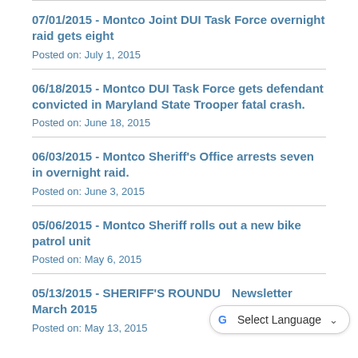07/01/2015 - Montco Joint DUI Task Force overnight raid gets eight
Posted on: July 1, 2015
06/18/2015 - Montco DUI Task Force gets defendant convicted in Maryland State Trooper fatal crash.
Posted on: June 18, 2015
06/03/2015 - Montco Sheriff's Office arrests seven in overnight raid.
Posted on: June 3, 2015
05/06/2015 - Montco Sheriff rolls out a new bike patrol unit
Posted on: May 6, 2015
05/13/2015 - SHERIFF'S ROUNDUP Newsletter March 2015
Posted on: May 13, 2015